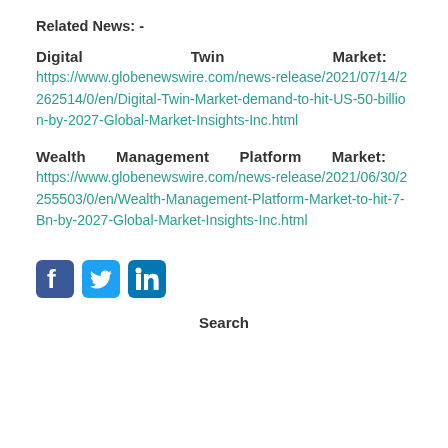Related News: -
Digital Twin Market: https://www.globenewswire.com/news-release/2021/07/14/2262514/0/en/Digital-Twin-Market-demand-to-hit-US-50-billion-by-2027-Global-Market-Insights-Inc.html
Wealth Management Platform Market: https://www.globenewswire.com/news-release/2021/06/30/2255503/0/en/Wealth-Management-Platform-Market-to-hit-7-Bn-by-2027-Global-Market-Insights-Inc.html
[Figure (illustration): Social media icons: Facebook, Twitter, LinkedIn]
Search